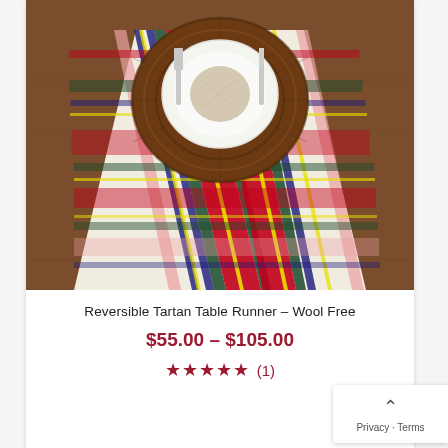[Figure (photo): Overhead photo of a tartan plaid table runner in red, white, green, blue, and yellow pattern on a wooden table, with a round wicker charger plate topped with a white dinner plate and silverware.]
Reversible Tartan Table Runner – Wool Free
$55.00 – $105.00
★★★★★ (1)